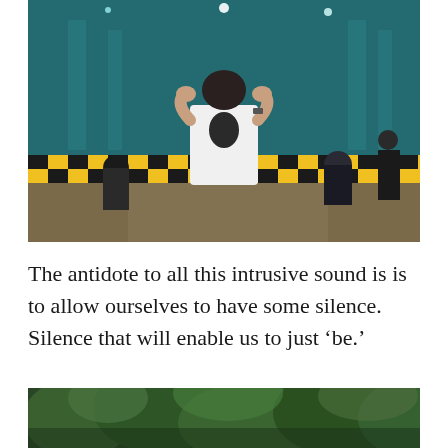[Figure (photo): A young man in a white Under Armour t-shirt with his head bowed and hands on the back of his head, standing in a large indoor space with teal/green lighting, yellow and black checkered barriers in the background, and other people sitting or standing around him.]
The antidote to all this intrusive sound is is to allow ourselves to have some silence. Silence that will enable us to just ‘be.’
[Figure (photo): Partial view of a lush green forest or garden scene, showing dense green foliage and trees.]